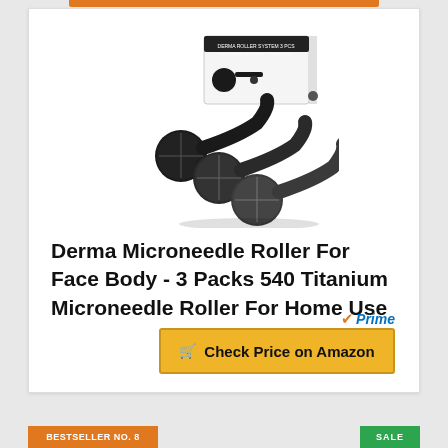[Figure (photo): Product photo of three black derma microneedle rollers and a white product box (Derma Roller System 3 PCS) arranged together on a white background.]
Derma Microneedle Roller For Face Body - 3 Packs 540 Titanium Microneedle Roller For Home Use
Prime
Check Price on Amazon
BESTSELLER NO. 8
SALE